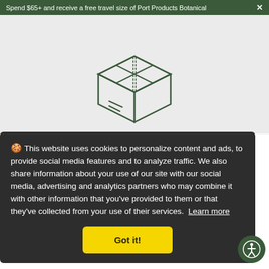Spend $65+ and receive a free travel size of Port Products Botanical ✕
[Figure (illustration): Line-art illustration of a closed cardboard shipping box on a light gray background]
Delivered to your door
Free U.S. shipping on all orders $45+. Orders under that ship for a flat rate of $5.
Shipping Info →
🍪 This website uses cookies to personalize content and ads, to provide social media features and to analyze traffic. We also share information about your use of our site with our social media, advertising and analytics partners who may combine it with other information that you've provided to them or that they've collected from your use of their services.  Learn more
Got it!